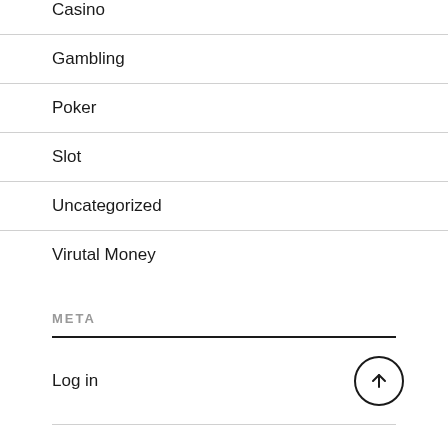Casino
Gambling
Poker
Slot
Uncategorized
Virutal Money
META
Log in